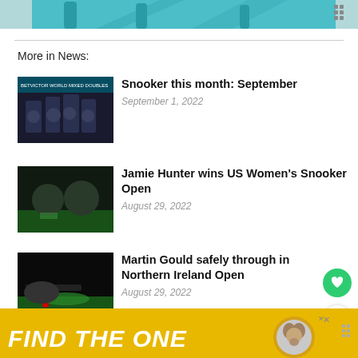[Figure (photo): Top banner with teal/cyan background, partial sports/betting advertisement]
More in News:
[Figure (photo): Group of snooker players promotional photo for BetVictor World Mixed Doubles]
Snooker this month: September
September 1, 2022
[Figure (photo): Jamie Hunter with trophy winner at US Women's Snooker Open]
Jamie Hunter wins US Women’s Snooker Open
August 29, 2022
[Figure (photo): Martin Gould leaning over a snooker table taking a shot]
Martin Gould safely through in Northern Ireland Open
August 29, 2022
[Figure (photo): Bottom advertisement banner: FIND THE ONE with dog image on yellow background]